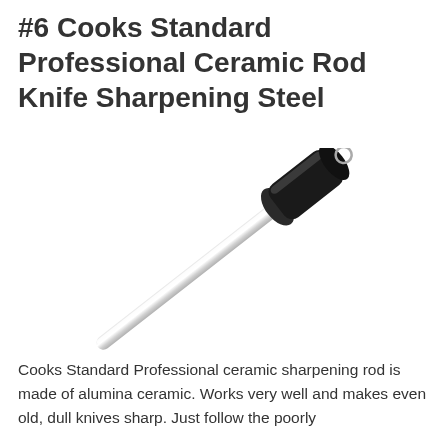#6 Cooks Standard Professional Ceramic Rod Knife Sharpening Steel
[Figure (photo): A ceramic rod knife sharpening steel with a white/silver cylindrical rod and a black ergonomic handle with a metal ring at the end, angled diagonally from upper-left to lower-right.]
Cooks Standard Professional ceramic sharpening rod is made of alumina ceramic. Works very well and makes even old, dull knives sharp. Just follow the poorly translated but understandable instructions and with